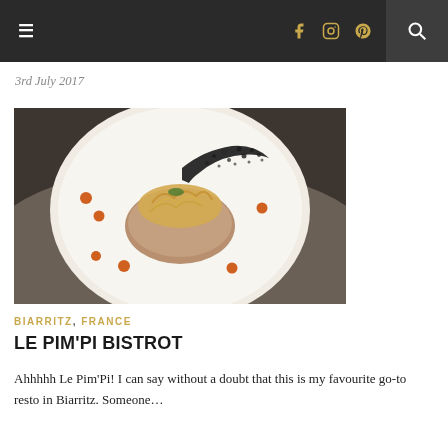Navigation bar with hamburger menu, social icons (f, Instagram, Pinterest), and search
3rd July 2017
[Figure (photo): A plated gourmet dish on a white round plate with orange sauce dots, a breaded/patty base topped with golden noodles and a dark lace decoration, served on a white plate with a dark background.]
BIARRITZ, FRANCE
LE PIM'PI BISTROT
Ahhhhh Le Pim'Pi! I can say without a doubt that this is my favourite go-to resto in Biarritz. Someone…